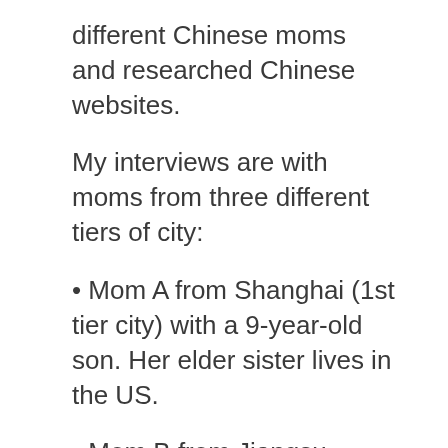different Chinese moms and researched Chinese websites.
My interviews are with moms from three different tiers of city:
Mom A from Shanghai (1st tier city) with a 9-year-old son. Her elder sister lives in the US.
Mom B from Jiangsu province (mostly 2nd tier cities) with a 4-year-old son.
Mom C from Henan province (mostly 3rd/4th tier cities) with a 4-year-old son. She is a teacher of English at a